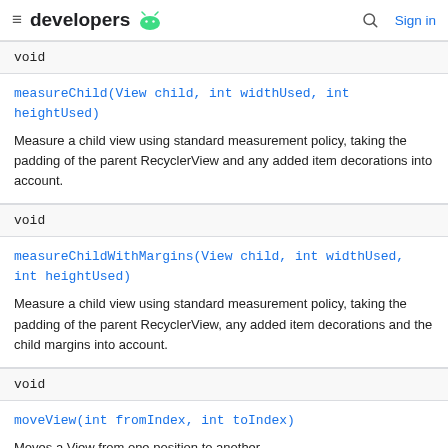developers [android logo] [search] Sign in
| Return type | Method |
| --- | --- |
| void | measureChild(View child, int widthUsed, int heightUsed)
Measure a child view using standard measurement policy, taking the padding of the parent RecyclerView and any added item decorations into account. |
| void | measureChildWithMargins(View child, int widthUsed, int heightUsed)
Measure a child view using standard measurement policy, taking the padding of the parent RecyclerView, any added item decorations and the child margins into account. |
| void | moveView(int fromIndex, int toIndex)
Moves a View from one position to another. |